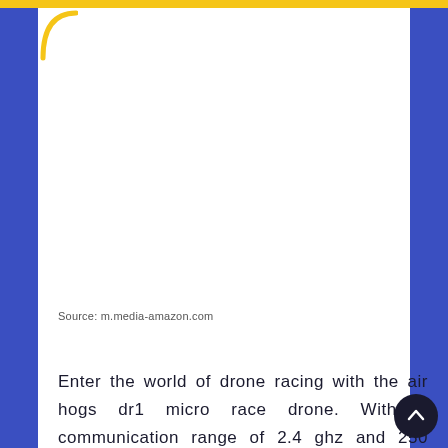Source: m.media-amazon.com
Enter the world of drone racing with the air hogs dr1 micro race drone. With a communication range of 2.4 ghz and 250 ft., you can challenge your friends and race up to 4 drones at the same time! Get started using the air hogs dr1 fpv race